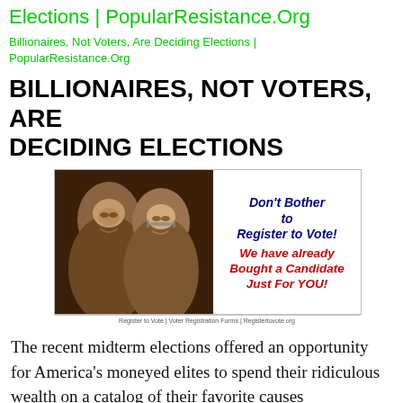Elections | PopularResistance.Org
Billionaires, Not Voters, Are Deciding Elections | PopularResistance.Org
BILLIONAIRES, NOT VOTERS, ARE DECIDING ELECTIONS
[Figure (illustration): Image of two older men (likely the Koch brothers) on the left side, with text on the right reading: Don't Bother to Register to Vote! We have already Bought a Candidate Just For YOU! with a small footer bar reading: Register to Vote | Voter Registration Forms | Registertovote.org]
The recent midterm elections offered an opportunity for America's moneyed elites to spend their ridiculous wealth on a catalog of their favorite causes